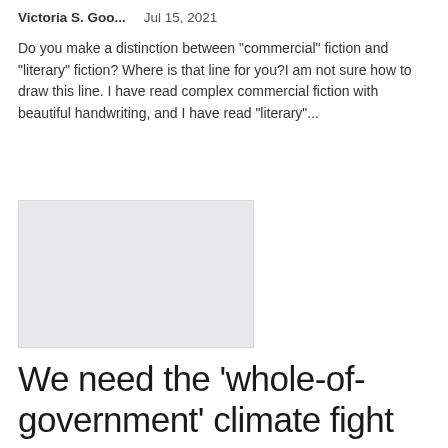Victoria S. Goo...    Jul 15, 2021
Do you make a distinction between "commercial" fiction and "literary" fiction? Where is that line for you?I am not sure how to draw this line. I have read complex commercial fiction with beautiful handwriting, and I have read "literary"...
[Figure (photo): Thumbnail image placeholder, light grey rectangle]
We need the ‘whole-of-government’ climate fight promised by Biden